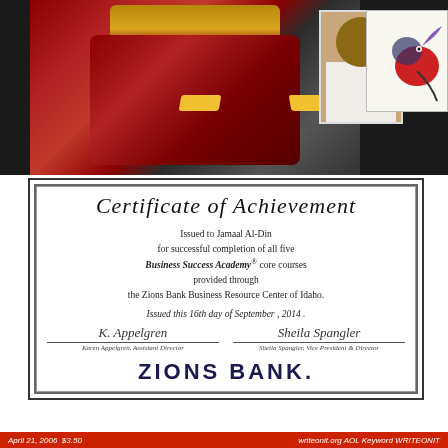[Figure (photo): Top banner showing Iron Man helmet on left, a person in white shirt in center-right, and a small illustrated bird/parrot image in top-right corner]
Certificate of Achievement
Issued to Jamaal Al-Din
for successful completion of all five
Business Success Academy® core courses
provided through
the Zions Bank Business Resource Center of Idaho.
Issued this 16th day of September , 2014 .
Karen Appelgren, Assistant Director | Sheila Spangler, Vice President & Director
ZIONS BANK.
April 21, 2006  $3.50                                writeonit.org AOL Keyword WRITEONIT